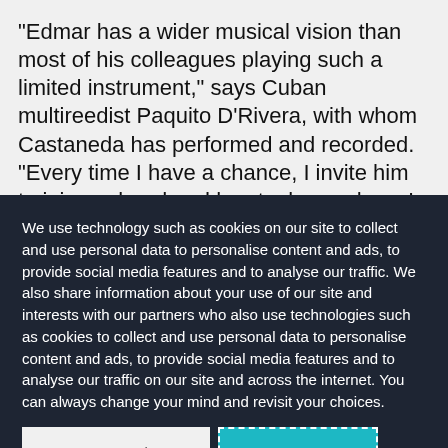“Edmar has a wider musical vision than most of his colleagues playing such a limited instrument,” says Cuban multireedist Paquito D’Rivera, with whom Castaneda has performed and recorded. “Every time I have a chance, I invite him to join my band and he steals my show. I hate that!” (D’Rivera’s Panamericana Ensemble, which includes Castaneda, recorded on
We use technology such as cookies on our site to collect and use personal data to personalise content and ads, to provide social media features and to analyse our traffic. We also share information about your use of our site and interests with our partners who also use technologies such as cookies to collect and use personal data to personalise content and ads, to provide social media features and to analyse our traffic on our site and across the internet. You can always change your mind and revisit your choices.
Manage Options
I Accept